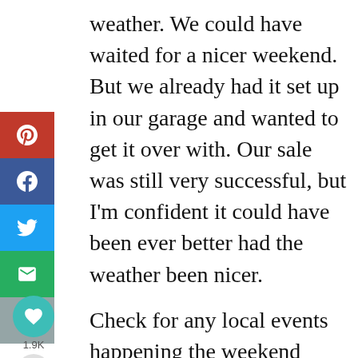weather. We could have waited for a nicer weekend. But we already had it set up in our garage and wanted to get it over with. Our sale was still very successful, but I'm confident it could have been ever better had the weather been nicer.
Check for any local events happening the weekend you're planning a garage sale that could draw people away from going to garage sales.
If your neighbourhood or community has an annual garage sale weekend, you may get more traffic if you plan your garage